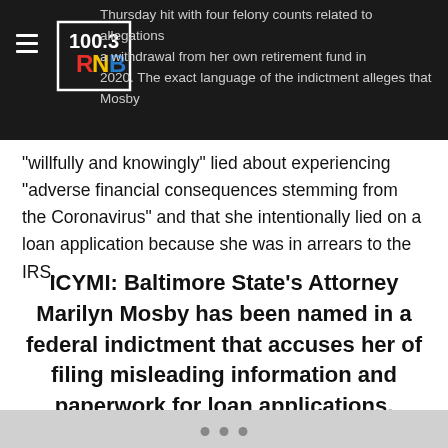Thursday hit with four felony counts related to allegations a withdrawal from her own retirement fund in 2020. The exact language of the indictment alleges that Mosby
[Figure (logo): 100.3 RNB radio station logo — white text on dark background with red, yellow and blue accent colors]
"willfully and knowingly" lied about experiencing "adverse financial consequences stemming from the Coronavirus" and that she intentionally lied on a loan application because she was in arrears to the IRS.
ICYMI: Baltimore State's Attorney Marilyn Mosby has been named in a federal indictment that accuses her of filing misleading information and paperwork for loan applications. https://t.co/yCORSUW11h pic.twitter.com/razYE5dwxC
• • •